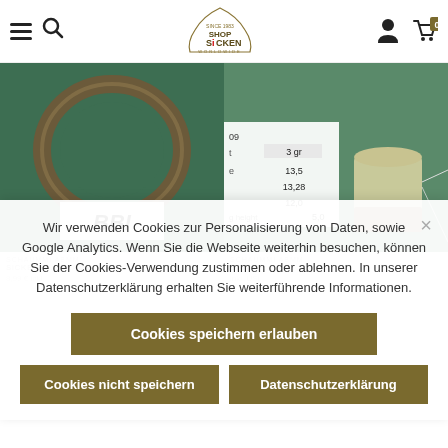Shop Sicken Worldwide - navigation header with hamburger menu, search, logo, user icon, cart icon with badge 0
[Figure (photo): Product photo of a metal O-ring/gasket on teal/green fabric background with BBI label]
[Figure (photo): Product photo of a cylindrical container/cup on green background with measurement table overlay showing 3 gr, 13.5, 13.28, 12.0, height 5.0]
Wir verwenden Cookies zur Personalisierung von Daten, sowie Google Analytics. Wenn Sie die Webseite weiterhin besuchen, können Sie der Cookies-Verwendung zustimmen oder ablehnen. In unserer Datenschutzerklärung erhalten Sie weiterführende Informationen.
Cookies speichern erlauben
Cookies nicht speichern
Datenschutzerklärung